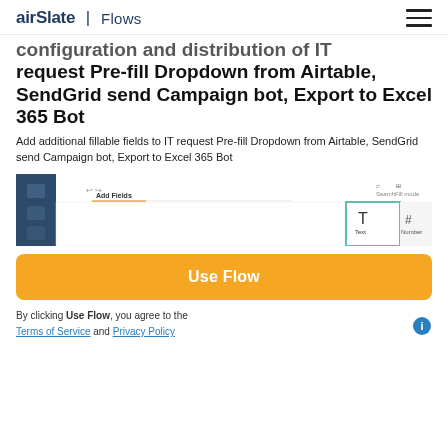airSlate | Flows
configuration and distribution of IT request Pre-fill Dropdown from Airtable, SendGrid send Campaign bot, Export to Excel 365 Bot
Add additional fillable fields to IT request Pre-fill Dropdown from Airtable, SendGrid send Campaign bot, Export to Excel 365 Bot
[Figure (screenshot): Screenshot of airSlate flow editor showing Add Fields panel with toolbar and field type options (Text, Number, Checkbox, etc.)]
Use Flow
By clicking Use Flow, you agree to the Terms of Service and Privacy Policy